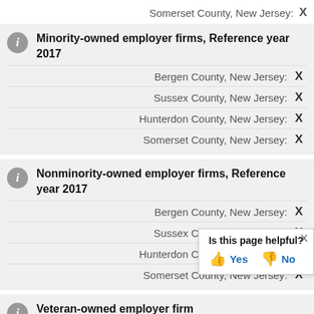Somerset County, New Jersey: X
Minority-owned employer firms, Reference year 2017
Bergen County, New Jersey: X
Sussex County, New Jersey: X
Hunterdon County, New Jersey: X
Somerset County, New Jersey: X
Nonminority-owned employer firms, Reference year 2017
Bergen County, New Jersey: X
Sussex County, New Jersey: X
Hunterdon County, New Jersey: X
Somerset County, New Jersey: X
Veteran-owned employer firms, Reference year 2017